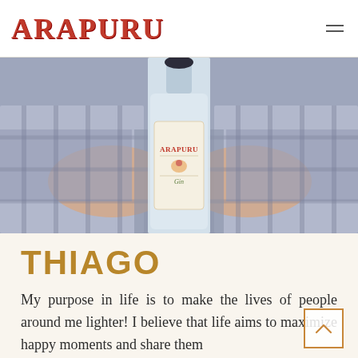ARAPURU
[Figure (photo): Person in a plaid/checkered shirt holding an Arapuru Gin bottle against their torso, photographed from chest down. The bottle label reads 'ARAPURU Gin' with decorative folk art motifs.]
THIAGO
My purpose in life is to make the lives of people around me lighter! I believe that life aims to maximize happy moments and share them